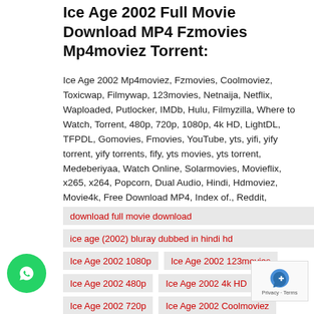Ice Age 2002 Full Movie Download MP4 Fzmovies Mp4moviez Torrent:
Ice Age 2002 Mp4moviez, Fzmovies, Coolmoviez, Toxicwap, Filmywap, 123movies, Netnaija, Netflix, Waploaded, Putlocker, IMDb, Hulu, Filmyzilla, Where to Watch, Torrent, 480p, 720p, 1080p, 4k HD, LightDL, TFPDL, Gomovies, Fmovies, YouTube, yts, yifi, yify torrent, yify torrents, fify, yts movies, yts torrent, Medeberiyaa, Watch Online, Solarmovies, Movieflix, x265, x264, Popcorn, Dual Audio, Hindi, Hdmoviez, Movie4k, Free Download MP4, Index of., Reddit, Tamilrockers, Dramacool, Soap2day, Filmymeet
download full movie download
ice age (2002) bluray dubbed in hindi hd
Ice Age 2002 1080p
Ice Age 2002 123movies
Ice Age 2002 480p
Ice Age 2002 4k HD
Ice Age 2002 720p
Ice Age 2002 Coolmoviez